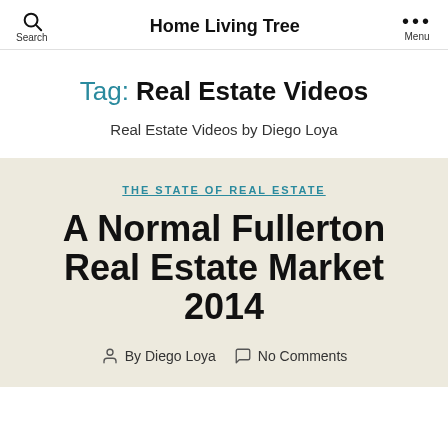Home Living Tree
Tag: Real Estate Videos
Real Estate Videos by Diego Loya
THE STATE OF REAL ESTATE
A Normal Fullerton Real Estate Market 2014
By Diego Loya  No Comments